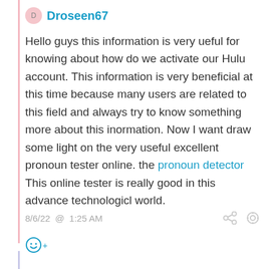Droseen67
Hello guys this information is very ueful for knowing about how do we activate our Hulu account. This information is very beneficial at this time because many users are related to this field and always try to know something more about this inormation. Now I want draw some light on the very useful excellent pronoun tester online. the pronoun detector This online tester is really good in this advance technologicl world.
8/6/22 @  1:25 AM